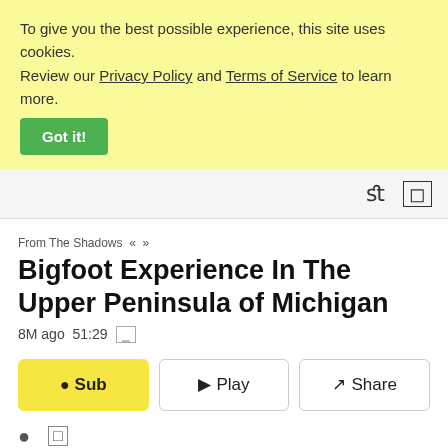To give you the best possible experience, this site uses cookies. Review our Privacy Policy and Terms of Service to learn more.
Got it!
fl  []
From The Shadows « »
Bigfoot Experience In The Upper Peninsula of Michigan
8M ago 51:29
◁ Sub   ▷ Play   ↗ Share
MP3 • Episode home